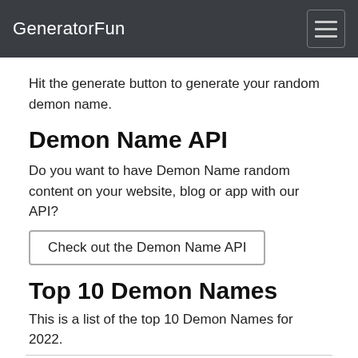GeneratorFun
Hit the generate button to generate your random demon name.
Demon Name API
Do you want to have Demon Name random content on your website, blog or app with our API?
Check out the Demon Name API
Top 10 Demon Names
This is a list of the top 10 Demon Names for 2022.
1. gollmethth
2. or'erth